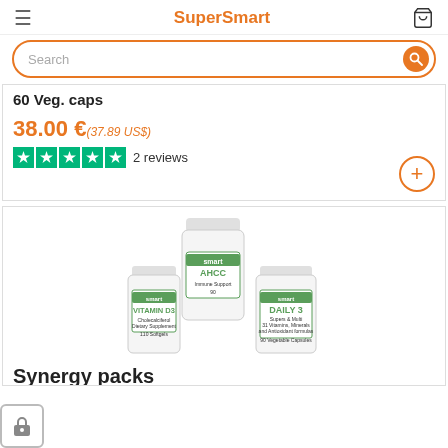SuperSmart
Search
60 Veg. caps
38.00 € (37.89 US$)
2 reviews
[Figure (photo): Three supplement bottles: AHCC, Vitamin D3, and Daily 3, grouped together with white caps and green labels]
Synergy packs